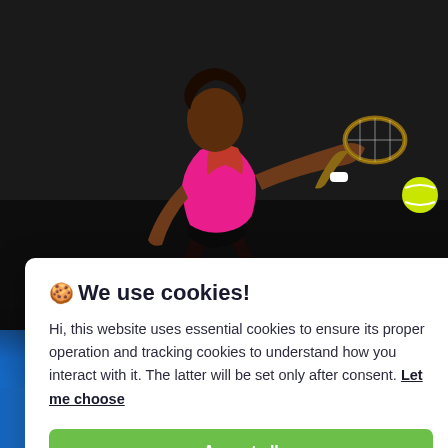[Figure (photo): A tennis player (Serena Williams) wearing a pink and red outfit, lunging forward to hit a tennis ball with a racket. Dark background, action shot.]
🍪 We use cookies!

Hi, this website uses essential cookies to ensure its proper operation and tracking cookies to understand how you interact with it. The latter will be set only after consent. Let me choose

[Accept all button]
[Reject all button]